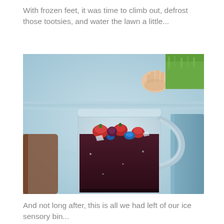With frozen feet, it was time to climb out, defrost those tootsies, and water the lawn a little...
[Figure (photo): A clear plastic pitcher filled with dark liquid (likely juice or punch) topped with colorful frozen items including what appear to be strawberries and blue candy/ice pieces, sitting in a plastic storage bin filled with water. A child's hand is visible at the top reaching toward the bin. Grass is visible in the background.]
And not long after, this is all we had left of our ice sensory bin...